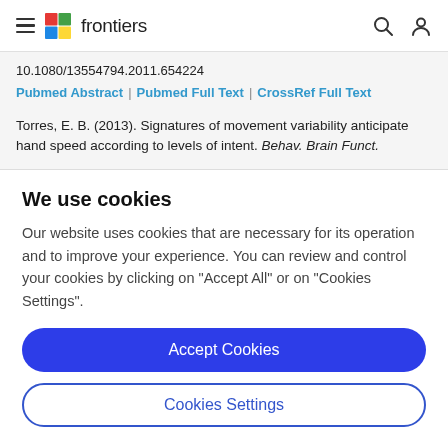frontiers
10.1080/13554794.2011.654224
Pubmed Abstract | Pubmed Full Text | CrossRef Full Text
Torres, E. B. (2013). Signatures of movement variability anticipate hand speed according to levels of intent. Behav. Brain Funct.
We use cookies
Our website uses cookies that are necessary for its operation and to improve your experience. You can review and control your cookies by clicking on "Accept All" or on "Cookies Settings".
Accept Cookies
Cookies Settings